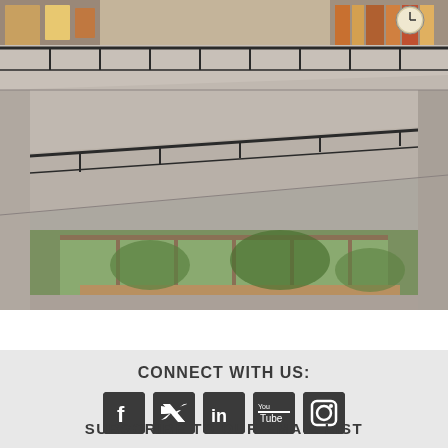[Figure (photo): Interior architectural photo of a modern building showing concrete staircase levels, metal railings, and large windows with wooden benches in the background]
CONNECT WITH US:
[Figure (infographic): Social media icons row: Facebook, Twitter, LinkedIn, YouTube, Instagram]
SUBSCRIBE TO OUR EMAIL LIST